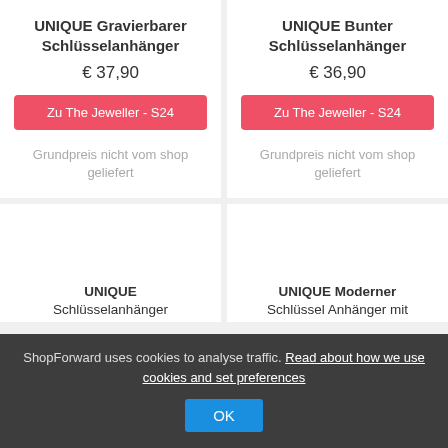UNIQUE Gravierbarer Schlüsselanhänger
€ 37,90
Zu The Jeweller - S24
Grundpreis nicht vom shop geliefert
UNIQUE Bunter Schlüsselanhänger
€ 36,90
Zu The Jeweller - S24
Grundpreis nicht vom shop geliefert
UNIQUE Schlüsselanhänger
UNIQUE Moderner Schlüssel Anhänger mit
ShopForward uses cookies to analyse traffic. Read about how we use cookies and set preferences
OK